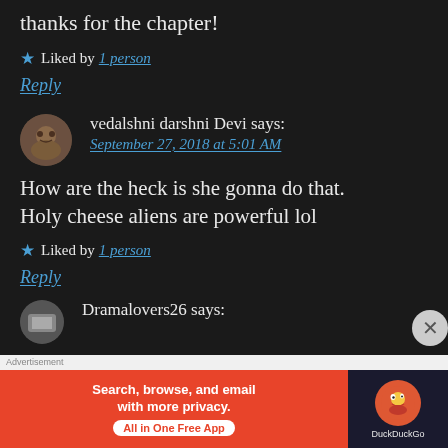thanks for the chapter!
★ Liked by 1 person
Reply
vedalshni darshni Devi says: September 27, 2018 at 5:01 AM
How are the heck is she gonna do that. Holy cheese aliens are powerful lol
★ Liked by 1 person
Reply
Dramalovers26 says:
[Figure (screenshot): DuckDuckGo advertisement banner: Search, browse, and email with more privacy. All in One Free App]